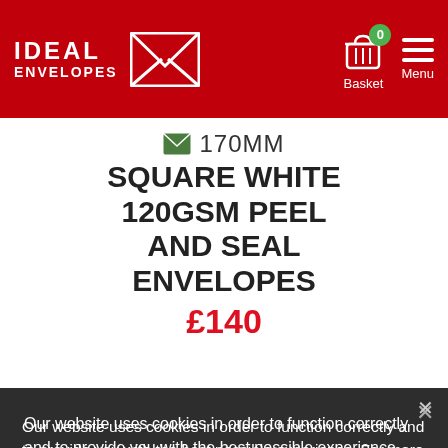[Figure (logo): Ideal Envelopes logo with envelope icon on red header background]
170MM SQUARE WHITE 120GSM PEEL AND SEAL ENVELOPES
Our website uses cookies in order to function correctly and to provide you with the best possible experience. For more information view our cookies policy statement. By clicking 'Accept' you accept our use of cookies. You can change your cookie settings at any time.
Necessary Cookies   Analytics cookies
ACCEPT ✓   Show details ∨
IVORY 170mm SQUARE ENVELOPES 120GSM